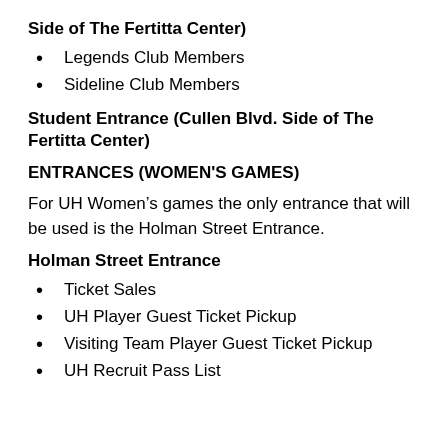Side of The Fertitta Center)
Legends Club Members
Sideline Club Members
Student Entrance (Cullen Blvd. Side of The Fertitta Center)
ENTRANCES (WOMEN'S GAMES)
For UH Women’s games the only entrance that will be used is the Holman Street Entrance.
Holman Street Entrance
Ticket Sales
UH Player Guest Ticket Pickup
Visiting Team Player Guest Ticket Pickup
UH Recruit Pass List